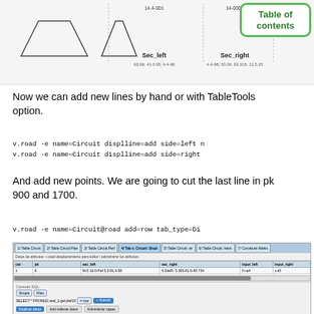[Figure (screenshot): Top portion of a road cross-section diagram showing Sec_left and Sec_right labels with values, partially visible at top of page]
[Figure (other): Table of contents box in upper right corner with green border]
Now we can add new lines by hand or with TableTools option.
v.road -e name=Circuit displline=add side=left n
v.road -e name=Circuit displline=add side=right
And add new points. We are going to cut the last line in pk 900 and 1700.
v.road -e name=Circuit@road add=row tab_type=Di
[Figure (screenshot): GRASS GIS table editor screenshot showing road displacement line data with columns for cat, pk, sec_left, sec_right, input_left, input_right. Contains 8 rows of data, SQL console at bottom with Simple/Files tabs.]